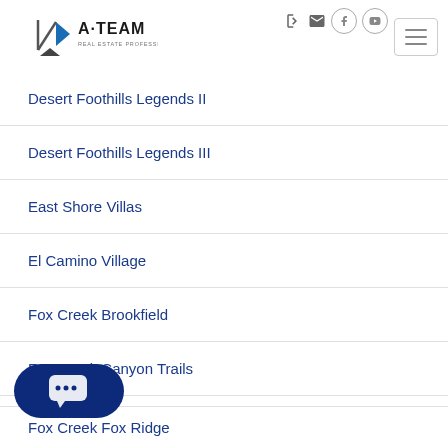[Figure (logo): A-Team Real Estate Professionals logo with geometric triangles and lines]
Desert Foothills Legends II
Desert Foothills Legends III
East Shore Villas
El Camino Village
Fox Creek Brookfield
Fox Creek Canyon Trails
Fox Creek Desert Sky
Fox Creek Fox Ridge